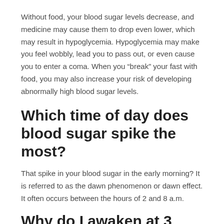Without food, your blood sugar levels decrease, and medicine may cause them to drop even lower, which may result in hypoglycemia. Hypoglycemia may make you feel wobbly, lead you to pass out, or even cause you to enter a coma. When you “break” your fast with food, you may also increase your risk of developing abnormally high blood sugar levels.
Which time of day does blood sugar spike the most?
That spike in your blood sugar in the early morning? It is referred to as the dawn phenomenon or dawn effect. It often occurs between the hours of 2 and 8 a.m.
Why do I awaken at 3 a.m. with low